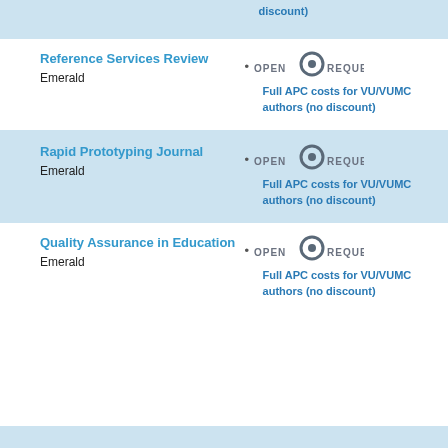discount)
Reference Services Review
Emerald
Full APC costs for VU/VUMC authors (no discount)
Rapid Prototyping Journal
Emerald
Full APC costs for VU/VUMC authors (no discount)
Quality Assurance in Education
Emerald
Full APC costs for VU/VUMC authors (no discount)